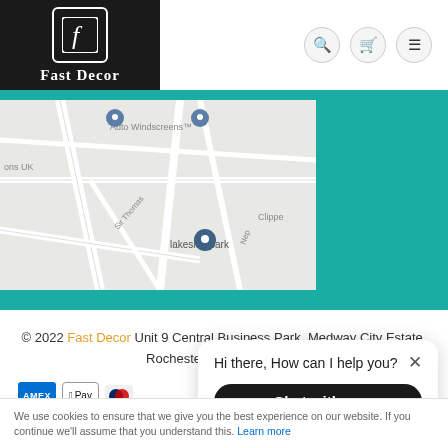[Figure (logo): Fast Decor logo — white stylized 'f' in a rounded square on black background, with 'FAST DECOR' text below in white serif font]
[Figure (map): Street map showing Lakeside Park area, with location pins for Auto Windscreens and Lakeside Park, streets include Sir Thomas road, partial labels: 'ons UK', 'Clippe', 'Nep']
© 2022 Fast Decor Unit 9 Central Business Park, Medway City Estate, Rochester, Kent, ME2 4LW
[Figure (other): Payment method icons: Amex (blue), Apple Pay, Diners Club]
[Figure (other): Chat popup overlay: 'Hi there, How can I help you?' with X close button and 'Chat with us' black rounded button]
We use cookies to ensure that we give you the best experience on our website. If you continue we'll assume that you understand this. Learn more